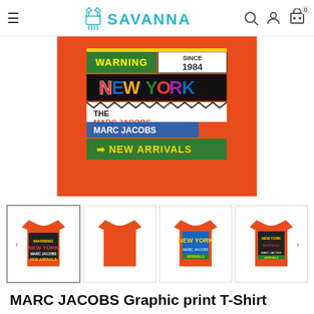SAVANNA
[Figure (photo): Close-up of an orange Marc Jacobs graphic print T-shirt showing colorful New York branding graphics with WARNING, SINCE 1984, NEW YORK, THE MARC JACOBS, NEW ARRIVALS text on green and black background patches]
[Figure (photo): Four thumbnail views of the orange Marc Jacobs graphic print T-shirt: front with graphic, plain front, back, and side with graphic]
MARC JACOBS Graphic print T-Shirt